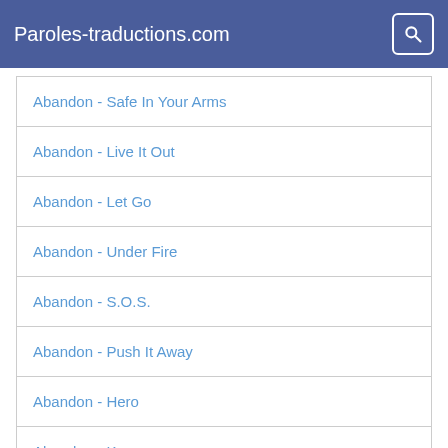Paroles-traductions.com
Abandon - Safe In Your Arms
Abandon - Live It Out
Abandon - Let Go
Abandon - Under Fire
Abandon - S.O.S.
Abandon - Push It Away
Abandon - Hero
Abandon - Known
Paroles de chansons et traductions en vogue: